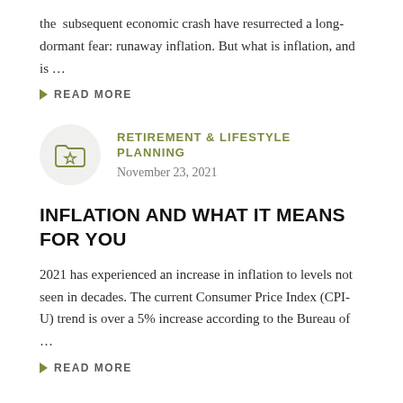the subsequent economic crash have resurrected a long-dormant fear: runaway inflation. But what is inflation, and is …
READ MORE
RETIREMENT & LIFESTYLE PLANNING
November 23, 2021
INFLATION AND WHAT IT MEANS FOR YOU
2021 has experienced an increase in inflation to levels not seen in decades. The current Consumer Price Index (CPI-U) trend is over a 5% increase according to the Bureau of …
READ MORE